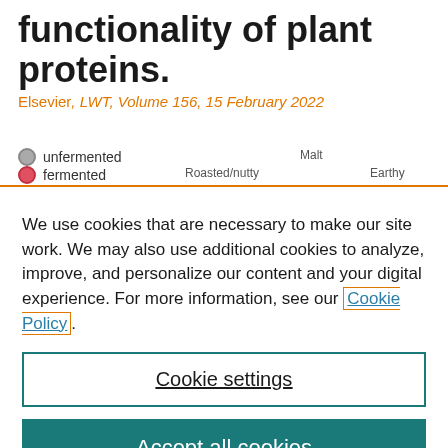functionality of plant proteins.
Elsevier, LWT, Volume 156, 15 February 2022
[Figure (other): Partial radar/spider chart legend showing 'unfermented' (gray dot) and 'fermented' (red dot) series with axis labels: Malt, Roasted/nutty, Earthy]
We use cookies that are necessary to make our site work. We may also use additional cookies to analyze, improve, and personalize our content and your digital experience. For more information, see our Cookie Policy.
Cookie settings
Accept all cookies